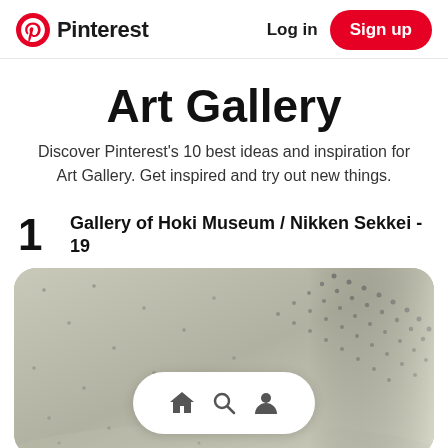Pinterest  Log in  Sign up
Art Gallery
Discover Pinterest's 10 best ideas and inspiration for Art Gallery. Get inspired and try out new things.
1  Gallery of Hoki Museum / Nikken Sekkei - 19
[Figure (photo): Interior ceiling photo of Gallery of Hoki Museum / Nikken Sekkei, showing a curved/angled ceiling with scattered small circular dots/perforations in a grey-green tone. A diagonal band of densely packed dots runs across the image.]
[Figure (screenshot): Bottom navigation bar with home, search, and profile icons on white pill-shaped background]